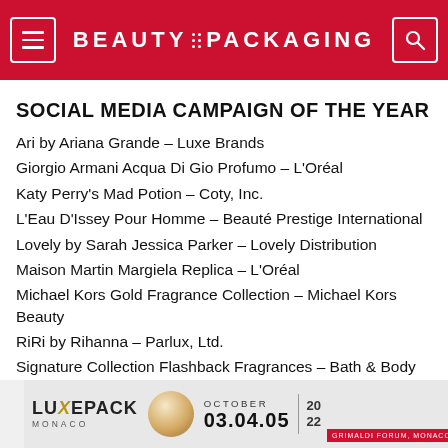BEAUTY PACKAGING
SOCIAL MEDIA CAMPAIGN OF THE YEAR
Ari by Ariana Grande – Luxe Brands
Giorgio Armani Acqua Di Gio Profumo – L'Oréal
Katy Perry's Mad Potion – Coty, Inc.
L'Eau D'Issey Pour Homme – Beauté Prestige International
Lovely by Sarah Jessica Parker – Lovely Distribution
Maison Martin Margiela Replica – L'Oréal
Michael Kors Gold Fragrance Collection – Michael Kors Beauty
RiRi by Rihanna – Parlux, Ltd.
Signature Collection Flashback Fragrances – Bath & Body Works
[Figure (advertisement): Luxe Pack Monaco advertisement banner with pearl image, dates October 03.04.05, year 2022, Grimaldi Forum Monaco]